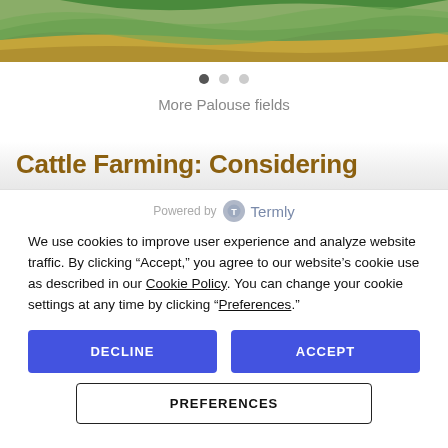[Figure (photo): Aerial view of Palouse fields with rolling green and gold agricultural landscape]
More Palouse fields
Cattle Farming: Considering
Powered by Termly
We use cookies to improve user experience and analyze website traffic. By clicking “Accept,” you agree to our website’s cookie use as described in our Cookie Policy. You can change your cookie settings at any time by clicking “Preferences.”
DECLINE
ACCEPT
PREFERENCES